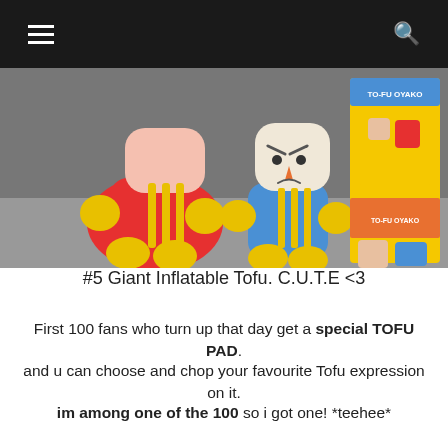≡  🔍
[Figure (photo): Two large inflatable tofu character figures (one red, one blue) sitting next to a To-Fu Oyako promotional banner/poster with yellow background]
#5 Giant Inflatable Tofu. C.U.T.E <3
First 100 fans who turn up that day get a special TOFU PAD.
and u can choose and chop your favourite Tofu expression on it.
im among one of the 100 so i got one! *teehee*
beside that, next 100 fans who purchase any product on that day,